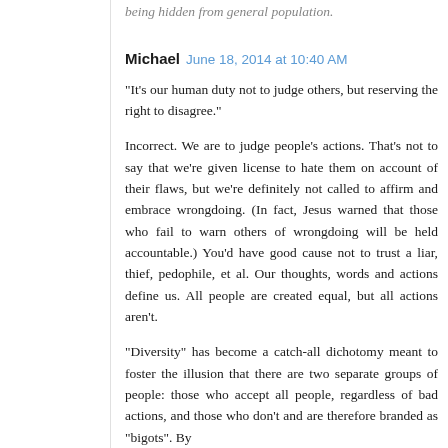being hidden from general population.
Michael   June 18, 2014 at 10:40 AM
"It's our human duty not to judge others, but reserving the right to disagree."

Incorrect. We are to judge people's actions. That's not to say that we're given license to hate them on account of their flaws, but we're definitely not called to affirm and embrace wrongdoing. (In fact, Jesus warned that those who fail to warn others of wrongdoing will be held accountable.) You'd have good cause not to trust a liar, thief, pedophile, et al. Our thoughts, words and actions define us. All people are created equal, but all actions aren't.

"Diversity" has become a catch-all dichotomy meant to foster the illusion that there are two separate groups of people: those who accept all people, regardless of bad actions, and those who don't and are therefore branded as "bigots". By